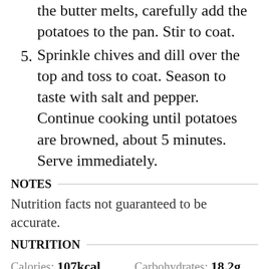(continuation) the butter melts, carefully add the potatoes to the pan. Stir to coat.
5. Sprinkle chives and dill over the top and toss to coat. Season to taste with salt and pepper. Continue cooking until potatoes are browned, about 5 minutes. Serve immediately.
NOTES
Nutrition facts not guaranteed to be accurate.
NUTRITION
Calories: 107kcal
Carbohydrates: 18.2g
Protein: 2.2g
Fat: 3.2g
Saturated Fat: 1.9g
Cholesterol: 8mg
Sodium: 30mg
Fiber: 2g
Sugar: 1.1g